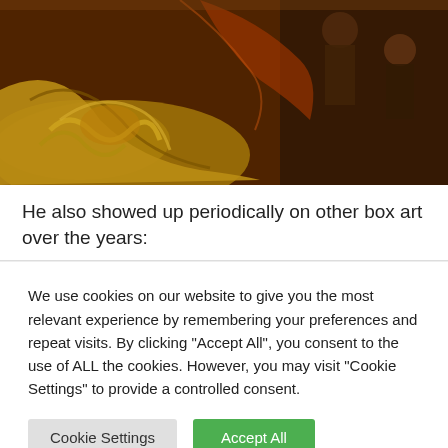[Figure (illustration): A painting-style illustration showing ancient warriors or gladiators in battle, with gold and dark tones, dramatic action poses. Close-up view of ornate armor and figures in combat.]
He also showed up periodically on other box art over the years:
We use cookies on our website to give you the most relevant experience by remembering your preferences and repeat visits. By clicking "Accept All", you consent to the use of ALL the cookies. However, you may visit "Cookie Settings" to provide a controlled consent.